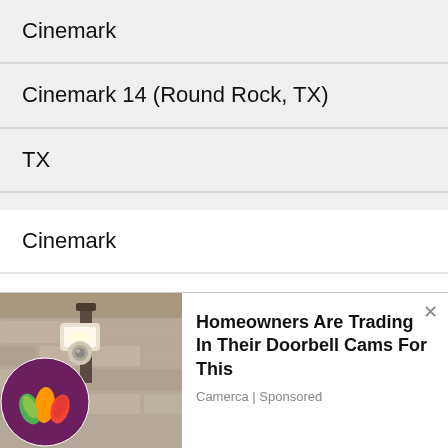Cinemark
Cinemark 14 (Round Rock, TX)
TX
Austin
Cinemark
Cinemark 24+ XD (West Jordan, UT)
UT
Salt Lake City
ark
[Figure (logo): Circular app icon with colorful flame/food graphic on dark purple background]
[Figure (photo): Outdoor wall lamp/security camera on stone wall]
Homeowners Are Trading In Their Doorbell Cams For This
Camerca | Sponsored